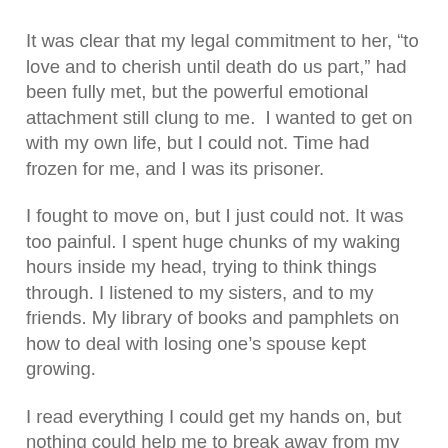It was clear that my legal commitment to her, “to love and to cherish until death do us part,” had been fully met, but the powerful emotional attachment still clung to me.  I wanted to get on with my own life, but I could not. Time had frozen for me, and I was its prisoner.
I fought to move on, but I just could not. It was too painful. I spent huge chunks of my waking hours inside my head, trying to think things through. I listened to my sisters, and to my friends. My library of books and pamphlets on how to deal with losing one’s spouse kept growing.
I read everything I could get my hands on, but nothing could help me to break away from my thoughts of guilt. I read and reread, several times over, my complete library on coping with grief. I